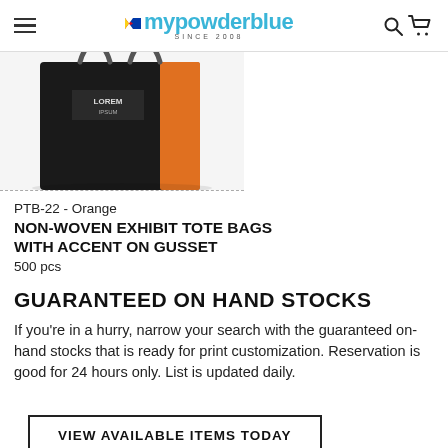mypowderblue SINCE 2008
[Figure (photo): Black and orange non-woven tote bag with 'LOREM IPSUM' printed on the front, displayed on white background, partially cropped at top.]
PTB-22 - Orange
NON-WOVEN EXHIBIT TOTE BAGS WITH ACCENT ON GUSSET
500 pcs
GUARANTEED ON HAND STOCKS
If you're in a hurry, narrow your search with the guaranteed on-hand stocks that is ready for print customization. Reservation is good for 24 hours only. List is updated daily.
VIEW AVAILABLE ITEMS TODAY